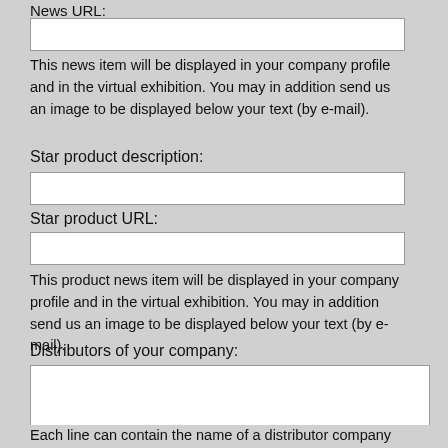News URL:
[Figure (other): Text input field for News URL]
This news item will be displayed in your company profile and in the virtual exhibition. You may in addition send us an image to be displayed below your text (by e-mail).
Star product description:
[Figure (other): Text input field for Star product description]
Star product URL:
[Figure (other): Text input field for Star product URL]
This product news item will be displayed in your company profile and in the virtual exhibition. You may in addition send us an image to be displayed below your text (by e-mail).
Distributors of your company:
[Figure (other): Textarea for distributors of your company]
Each line can contain the name of a distributor company